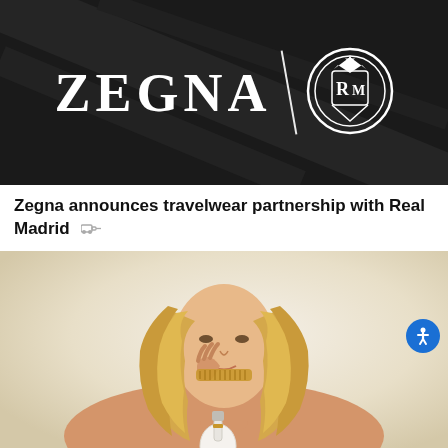[Figure (photo): Black background image showing ZEGNA logo text in white serif font on the left, a diagonal white divider line in the center, and Real Madrid circular crest logo in white on the right.]
Zegna announces travelwear partnership with Real Madrid
[Figure (photo): Advertisement photo of a blonde woman with wavy hair touching her chin, wearing a gold choker necklace, holding a white perfume bottle (J'adore Dior style), on a light cream/beige gradient background.]
Dior debuts alcohol-free perfume